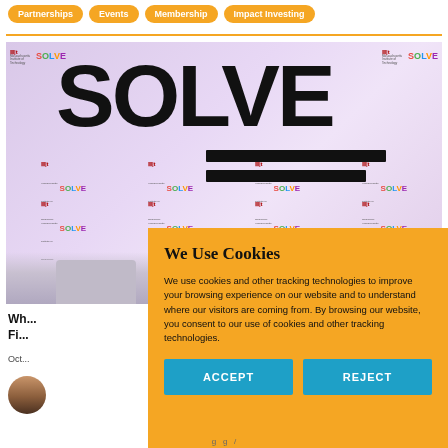Partnerships | Events | Membership | Impact Investing
[Figure (screenshot): MIT SOLVE event backdrop with large SOLVE text and repeated MIT Solve logo pattern on purple/lavender background, with chairs visible at bottom]
Wh... Fi...
Oct...
[Figure (photo): Avatar/profile photo of a person]
We Use Cookies
We use cookies and other tracking technologies to improve your browsing experience on our website and to understand where our visitors are coming from. By browsing our website, you consent to our use of cookies and other tracking technologies.
ACCEPT | REJECT